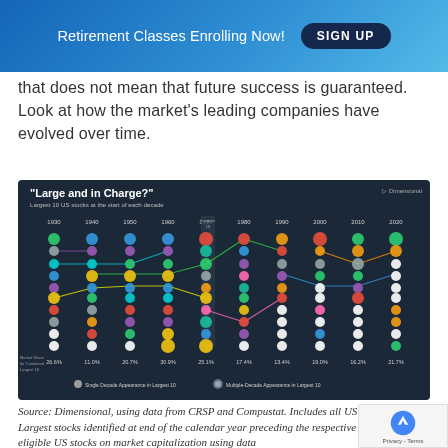Retirement Classes Enrolling Now! SIGN UP
that does not mean that future success is guaranteed. Look at how the market's leading companies have evolved over time.
[Figure (infographic): "Large and in Charge?" - Largest 10 US stocks at the start of each decade, shown as a connected bubble chart across decades from 1930 to 2020 with colored circles representing companies and lines connecting their rankings. Market share for combined largest 10 companies shown at bottom: 26.6%, 11.0%, 20.7%, 30.9%, 25.1%, 17.4%, 13.4%, 19.0%, 16.2%, 21.7%. Legend shows Single Decade Appearance vs Multiple-Decade Appearance.]
Source: Dimensional, using data from CRSP and Compustat. Includes all US common stocks. Largest stocks identified at end of the calendar year preceding the respective decade, sorting eligible US stocks on market capitalization using data